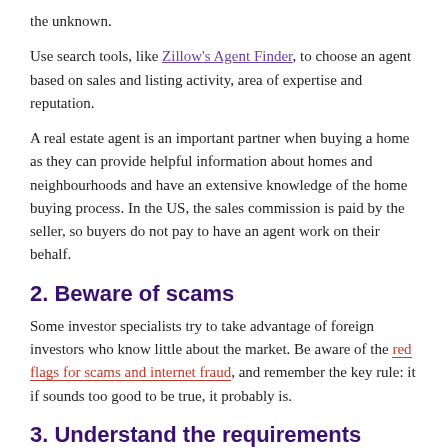the unknown.
Use search tools, like Zillow's Agent Finder, to choose an agent based on sales and listing activity, area of expertise and reputation.
A real estate agent is an important partner when buying a home as they can provide helpful information about homes and neighbourhoods and have an extensive knowledge of the home buying process. In the US, the sales commission is paid by the seller, so buyers do not pay to have an agent work on their behalf.
2. Beware of scams
Some investor specialists try to take advantage of foreign investors who know little about the market. Be aware of the red flags for scams and internet fraud, and remember the key rule: it if sounds too good to be true, it probably is.
3. Understand the requirements